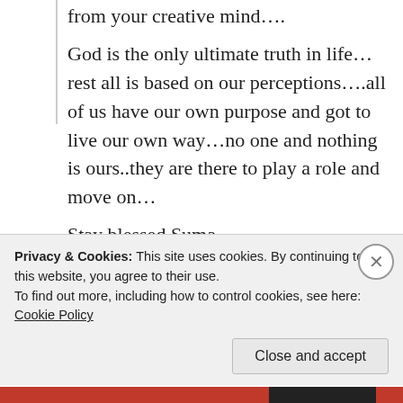from your creative mind….
God is the only ultimate truth in life…rest all is based on our perceptions….all of us have our own purpose and got to live our own way…no one and nothing is ours..they are there to play a role and move on…
Stay blessed Suma..
Keep blogging….keep inspiring.
🙏 🌹 🙏
★ Liked by 5 people
Privacy & Cookies: This site uses cookies. By continuing to use this website, you agree to their use.
To find out more, including how to control cookies, see here: Cookie Policy